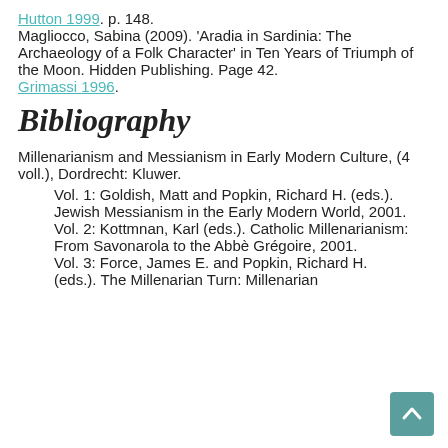Hutton 1999. p. 148.
Magliocco, Sabina (2009). 'Aradia in Sardinia: The Archaeology of a Folk Character' in Ten Years of Triumph of the Moon. Hidden Publishing. Page 42.
Grimassi 1996.
Bibliography
Millenarianism and Messianism in Early Modern Culture, (4 voll.), Dordrecht: Kluwer.
Vol. 1: Goldish, Matt and Popkin, Richard H. (eds.). Jewish Messianism in the Early Modern World, 2001.
Vol. 2: Kottmnan, Karl (eds.). Catholic Millenarianism: From Savonarola to the Abbè Grégoire, 2001.
Vol. 3: Force, James E. and Popkin, Richard H. (eds.). The Millenarian Turn: Millenarian